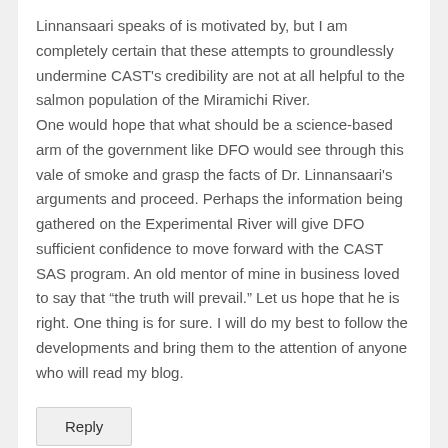Linnansaari speaks of is motivated by, but I am completely certain that these attempts to groundlessly undermine CAST's credibility are not at all helpful to the salmon population of the Miramichi River. One would hope that what should be a science-based arm of the government like DFO would see through this vale of smoke and grasp the facts of Dr. Linnansaari's arguments and proceed. Perhaps the information being gathered on the Experimental River will give DFO sufficient confidence to move forward with the CAST SAS program. An old mentor of mine in business loved to say that "the truth will prevail." Let us hope that he is right. One thing is for sure. I will do my best to follow the developments and bring them to the attention of anyone who will read my blog.
Reply